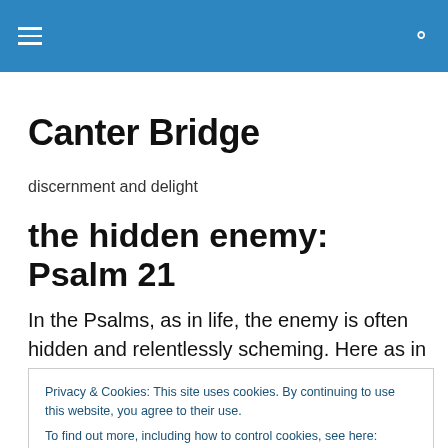Canter Bridge — site header bar with hamburger menu and search icon
Canter Bridge
discernment and delight
the hidden enemy: Psalm 21
In the Psalms, as in life, the enemy is often hidden and relentlessly scheming. Here as in so many other of its
Privacy & Cookies: This site uses cookies. By continuing to use this website, you agree to their use.
To find out more, including how to control cookies, see here: Cookie Policy
ourselves to admit their existence. We do alright with evil,